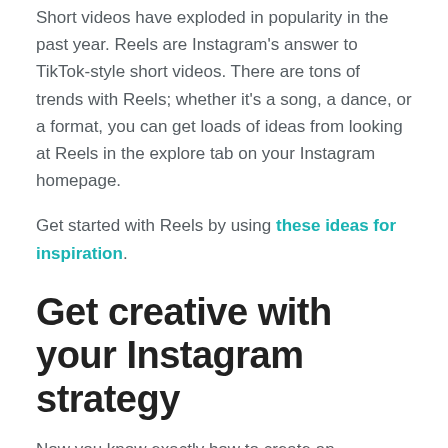Short videos have exploded in popularity in the past year. Reels are Instagram's answer to TikTok-style short videos. There are tons of trends with Reels; whether it's a song, a dance, or a format, you can get loads of ideas from looking at Reels in the explore tab on your Instagram homepage.
Get started with Reels by using these ideas for inspiration.
Get creative with your Instagram strategy
Now you know exactly how to create an Instagram marketing strategy that will wow your followers, grow your following, and boost your engagement.